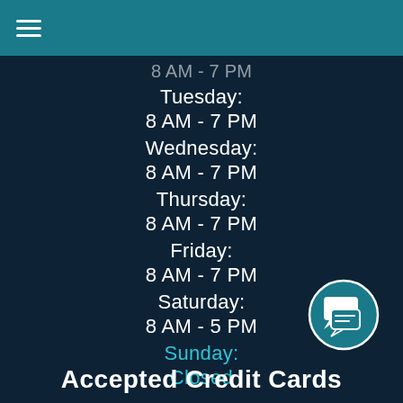8 AM - 7 PM (partial, cut off)
Tuesday: 8 AM - 7 PM
Wednesday: 8 AM - 7 PM
Thursday: 8 AM - 7 PM
Friday: 8 AM - 7 PM
Saturday: 8 AM - 5 PM
Sunday: Closed
Accepted Credit Cards